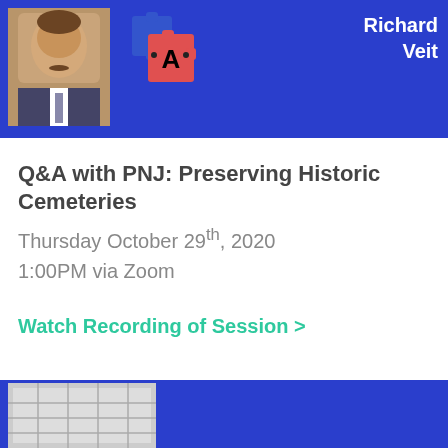[Figure (photo): Top blue banner with a photo of Richard Veit (man with mustache in suit), a puzzle-piece logo with letter A, and text 'Richard Veit' in white on blue background]
Q&A with PNJ: Preserving Historic Cemeteries
Thursday October 29th, 2020
1:00PM via Zoom
Watch Recording of Session >
[Figure (photo): Bottom blue banner with a partial image of a building or structure, partially cropped at bottom of page]